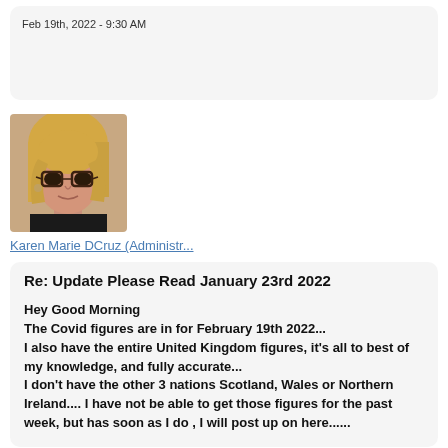Feb 19th, 2022 - 9:30 AM
[Figure (photo): Profile photo of Karen Marie DCruz, a woman with blonde hair and dark-rimmed glasses]
Karen Marie DCruz (Administr...
Re: Update Please Read January 23rd 2022
Hey Good Morning
The Covid figures are in for February 19th 2022...
I also have the entire United Kingdom figures, it's all to best of my knowledge, and fully accurate...
I don't have the other 3 nations Scotland, Wales or Northern Ireland.... I have not be able to get those figures for the past week, but has soon as I do , I will post up on here......